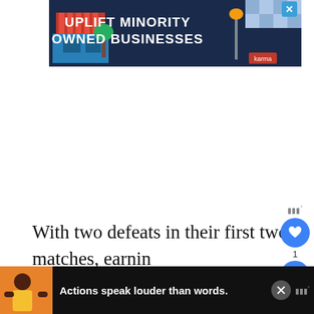[Figure (illustration): Advertisement banner: dark navy background with text 'UPLIFT MINORITY OWNED BUSINESSES' in large white/teal letters, illustrated storefront with red awning on left, street lamp, blue checkered pattern top-right, close X button top-right, small Karma logo bottom-right]
With two defeats in their first two matches, earning a qualification in the knockout seemed impossib... as Danish legends are famous for fairy tales.
[Figure (illustration): Advertisement banner at bottom: dark background, illustrated person with yellow shirt, text 'Actions speak louder than words.' in white bold text, close X button, mute/volume icon on right]